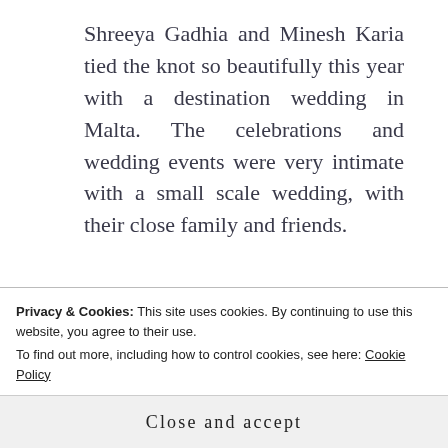Shreeya Gadhia and Minesh Karia tied the knot so beautifully this year with a destination wedding in Malta. The celebrations and wedding events were very intimate with a small scale wedding, with their close family and friends.
All the wedding ceremonies and events were held at the Grand Excelsior Malta and Villa Bologna stately home, which included the Chundri, Mandvo, Pithi, Mendhi Party, Hindu Wedding, Civil Wedding and culminated with a grand
Privacy & Cookies: This site uses cookies. By continuing to use this website, you agree to their use.
To find out more, including how to control cookies, see here: Cookie Policy
Close and accept
are filled with brightness and emotions. I also